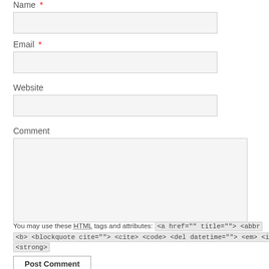Name *
Email *
Website
Comment
You may use these HTML tags and attributes: <a href="" title=""> <abbr <b> <blockquote cite=""> <cite> <code> <del datetime=""> <em> <i> <strong>
Post Comment